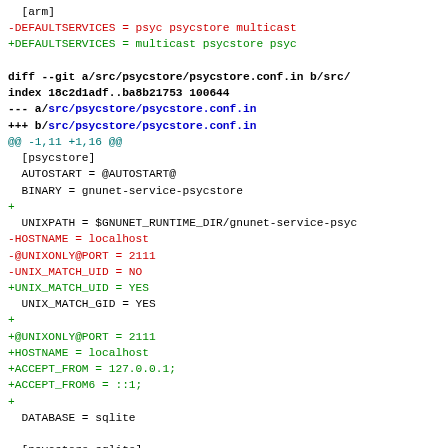[arm]
-DEFAULTSERVICES = psyc psycstore multicast
+DEFAULTSERVICES = multicast psycstore psyc

diff --git a/src/psycstore/psycstore.conf.in b/src/
index 18c2d1adf..ba8b21753 100644
--- a/src/psycstore/psycstore.conf.in
+++ b/src/psycstore/psycstore.conf.in
@@ -1,11 +1,16 @@
 [psycstore]
 AUTOSTART = @AUTOSTART@
 BINARY = gnunet-service-psycstore
+
 UNIXPATH = $GNUNET_RUNTIME_DIR/gnunet-service-psyc
-HOSTNAME = localhost
-@UNIXONLY@PORT = 2111
-UNIX_MATCH_UID = NO
+UNIX_MATCH_UID = YES
 UNIX_MATCH_GID = YES
+
+@UNIXONLY@PORT = 2111
+HOSTNAME = localhost
+ACCEPT_FROM = 127.0.0.1;
+ACCEPT_FROM6 = ::1;
+
 DATABASE = sqlite

 [psycstore-sqlite]

diff --git a/src/social/Makefile.am b/src/social/Ma